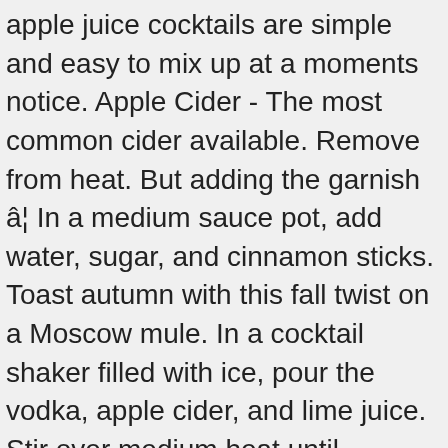apple juice cocktails are simple and easy to mix up at a moments notice. Apple Cider - The most common cider available. Remove from heat. But adding the garnish â¦ In a medium sauce pot, add water, sugar, and cinnamon sticks. Toast autumn with this fall twist on a Moscow mule. In a cocktail shaker filled with ice, pour the vodka, apple cider, and lime juice. Stir over medium heat until dissolved. Today, we also have apple vodka, gin and rum to play with and a few of these cocktails use those. Whether it is hot apple cider, chilled apple juice, or one of the tasty apple brandies, the flavor of the apple makes a great foundation for many mixed drinks. Sparkling Fireball Apple Sangria has tons of cold weather flavors like apple cider, fresh apple, pomegranate seeds and definitely the booze! https://cocktails.lovetoknow.com/cocktail-recipes/crown-royal- Apple rosette. Try to match the color of drink and garnish. Colleen Graham is a cocktail expert, professional bartender, and cookbook author with over 10 years of experience in the food-writing world. Top with ginger beer